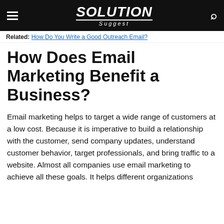SOLUTION Suggest
Related: How Do You Write a Good Outreach Email?
How Does Email Marketing Benefit a Business?
Email marketing helps to target a wide range of customers at a low cost. Because it is imperative to build a relationship with the customer, send company updates, understand customer behavior, target professionals, and bring traffic to a website. Almost all companies use email marketing to achieve all these goals. It helps different organizations